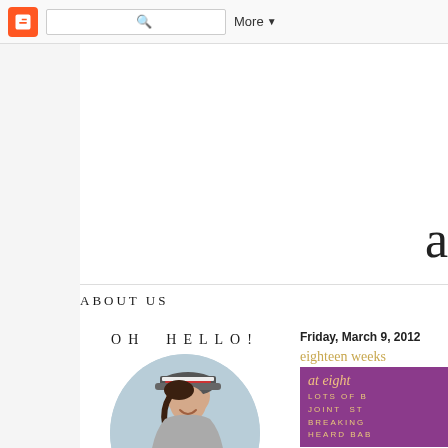[Figure (screenshot): Blogger navigation bar with orange Blogger icon, search box, and More dropdown button]
[Figure (screenshot): Blog header area showing partial cursive letter 'a' in top right]
ABOUT US
OH HELLO!
[Figure (photo): Young woman wearing a baseball cap and grey t-shirt, sitting and smiling, in an oval-cropped photo with a light blue background]
Friday, March 9, 2012
eighteen weeks
[Figure (infographic): Purple card with text: 'at eight' in gold cursive, followed by uppercase white/gold text: 'LOTS OF B', 'JOINT ST', 'BREAKING', 'HEARD BAB']